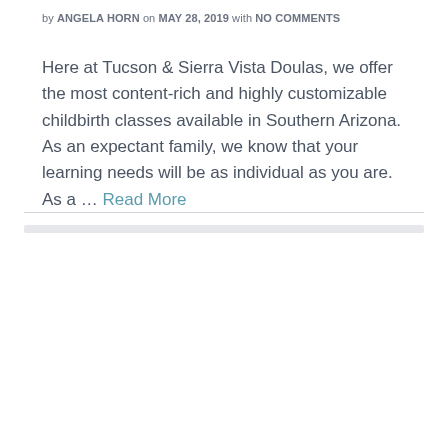by ANGELA HORN on MAY 28, 2019 with NO COMMENTS
Here at Tucson & Sierra Vista Doulas, we offer the most content-rich and highly customizable childbirth classes available in Southern Arizona. As an expectant family, we know that your learning needs will be as individual as you are. As a … Read More